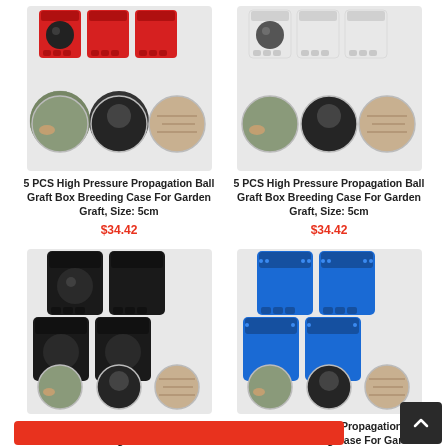[Figure (photo): 5 PCS High Pressure Propagation Ball Graft Box - red color, size 5cm, showing product boxes and usage photos]
5 PCS High Pressure Propagation Ball Graft Box Breeding Case For Garden Graft, Size: 5cm
$34.42
[Figure (photo): 5 PCS High Pressure Propagation Ball Graft Box - white/clear color, size 5cm, showing product boxes and usage photos]
5 PCS High Pressure Propagation Ball Graft Box Breeding Case For Garden Graft, Size: 5cm
$34.42
[Figure (photo): 5 PCS High Pressure Propagation Ball Graft Box - black color, size 8cm, showing product boxes and usage photos]
5 PCS High Pressure Propagation Ball Graft Box Breeding Case For Garden Graft, Size: 8cm
$55.27
[Figure (photo): 5 PCS High Pressure Propagation Ball Graft Box - blue color, size 8cm, showing product boxes and usage photos]
5 PCS High Pressure Propagation Ball Graft Box Breeding Case For Garden Graft, Size: 8cm
$55.27